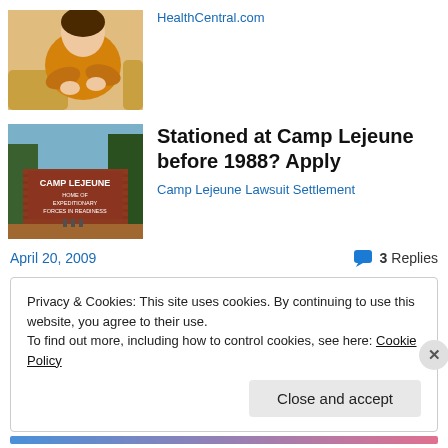[Figure (photo): Woman in yellow sweater holding wrist/medication]
HealthCentral.com
[Figure (photo): Camp Lejeune sign - Home of Expeditionary Forces in Readiness]
Stationed at Camp Lejeune before 1988? Apply
Camp Lejeune Lawsuit Settlement
April 20, 2009
3 Replies
Privacy & Cookies: This site uses cookies. By continuing to use this website, you agree to their use.
To find out more, including how to control cookies, see here: Cookie Policy